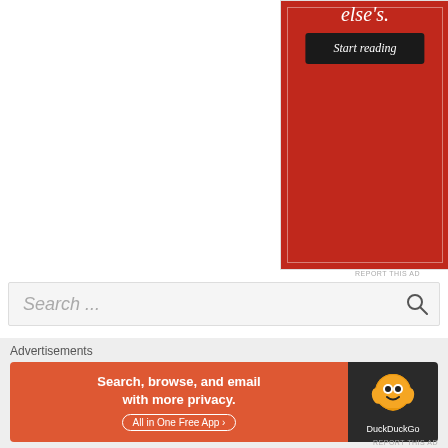[Figure (other): Red advertisement banner for a book, showing 'else's.' text at the top and a 'Start reading' button on dark background]
REPORT THIS AD
Search ...
Endometriosis
Advertisements
[Figure (other): DuckDuckGo advertisement banner: 'Search, browse, and email with more privacy. All in One Free App' with DuckDuckGo logo on dark background]